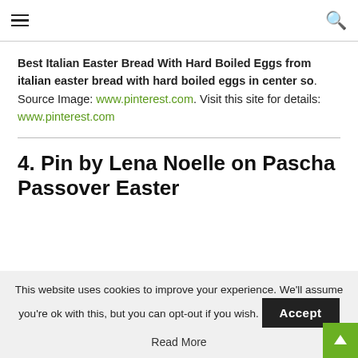Hamburger menu icon and search icon
Best Italian Easter Bread With Hard Boiled Eggs from italian easter bread with hard boiled eggs in center so. Source Image: www.pinterest.com. Visit this site for details: www.pinterest.com
4. Pin by Lena Noelle on Pascha Passover Easter
This website uses cookies to improve your experience. We'll assume you're ok with this, but you can opt-out if you wish. Accept
Read More